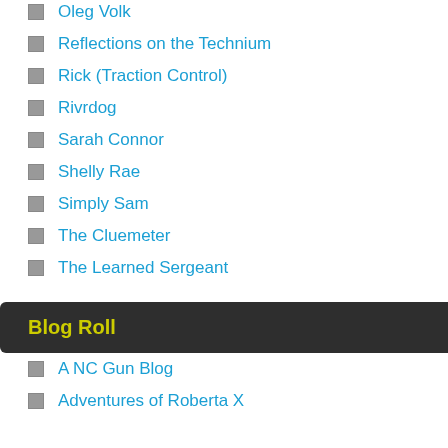Oleg Volk
Reflections on the Technium
Rick (Traction Control)
Rivrdog
Sarah Connor
Shelly Rae
Simply Sam
The Cluemeter
The Learned Sergeant
Blog Roll
A NC Gun Blog
Adventures of Roberta X